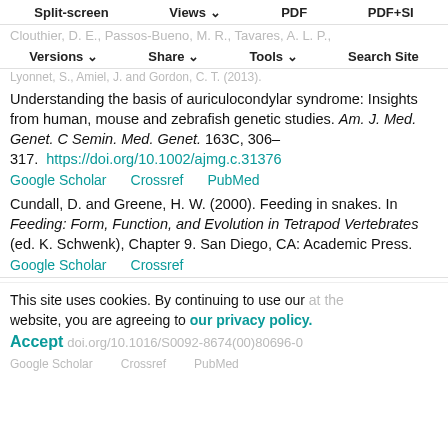https://doi.org/10.1016/S0092-8674(00)80696-0 [faded]
Split-screen | Views | PDF | PDF+SI | Google Scholar | Crossref | PubMed [toolbar]
Clouthier, D. E., Passos-Bueno, M. R., Tavares, A. L. P., Lyonnet, S., Amiel, J. and Gordon, C. T. (2013). Understanding the basis of auriculocondylar syndrome: Insights from human, mouse and zebrafish genetic studies. Am. J. Med. Genet. C Semin. Med. Genet. 163C, 306-317. https://doi.org/10.1002/ajmg.c.31376
Google Scholar   Crossref   PubMed
Cundall, D. and Greene, H. W. (2000). Feeding in snakes. In Feeding: Form, Function, and Evolution in Tetrapod Vertebrates (ed. K. Schwenk), Chapter 9. San Diego, CA: Academic Press.
Google Scholar   Crossref
This site uses cookies. By continuing to use our website, you are agreeing to our privacy policy. Accept
https://doi.org/10.1016/S0092-8674(00)80696-0 [faded]
Google Scholar   Crossref   PubMed [faded]